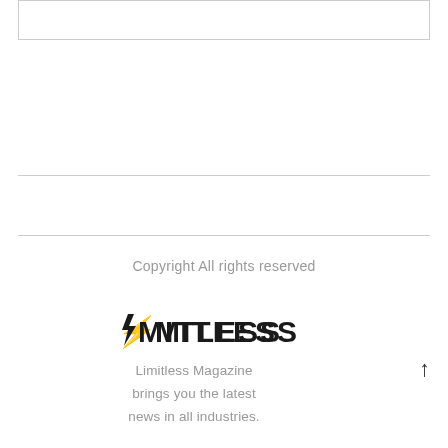[Figure (other): Top bordered box, empty content area]
Copyright All rights reserved
[Figure (logo): Limitless Magazine logo with lightning bolt]
Limitless Magazine brings you the latest news in all industries.